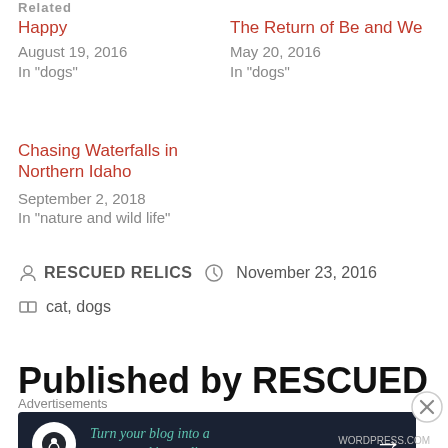Related
Happy
August 19, 2016
In "dogs"
The Return of Be and We
May 20, 2016
In "dogs"
Chasing Waterfalls in Northern Idaho
September 2, 2018
In "nature and wild life"
RESCUED RELICS   November 23, 2016
cat, dogs
Published by RESCUED
Advertisements
[Figure (infographic): Dark banner advertisement: 'Turn your blog into a money-making online course.' with arrow button and WordPress.com logo icon]